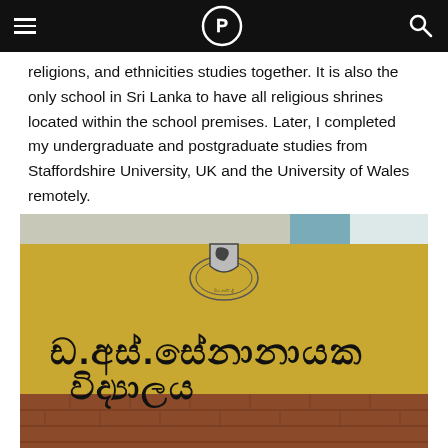Navigation bar with hamburger menu, logo (P in circle), and search icon
religions, and ethnicities studies together. It is also the only school in Sri Lanka to have all religious shrines located within the school premises. Later, I completed my undergraduate and postgraduate studies from Staffordshire University, UK and the University of Wales remotely.
[Figure (photo): School building exterior showing a yellow wall with a Sri Lankan university crest/coat of arms and Sinhala script text reading 'D.S. Senanayake Vidyalaya', with a brick base and blue roof visible in the background.]